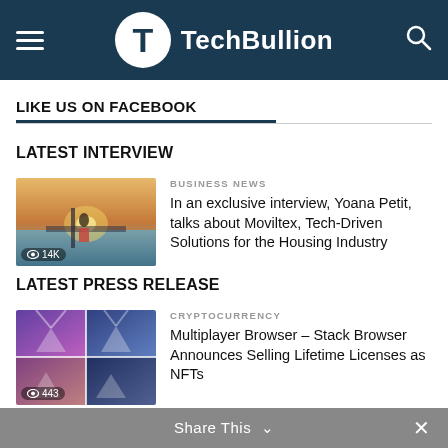TechBullion
LIKE US ON FACEBOOK
LATEST INTERVIEW
[Figure (photo): Thumbnail image of a person near water at sunset with eye icon and 14K view count]
BUSINESS NEWS
In an exclusive interview, Yoana Petit, talks about Moviltex, Tech-Driven Solutions for the Housing Industry
LATEST PRESS RELEASE
[Figure (photo): Thumbnail collage of purple/blue abstract images with mountains and eye icon and 443 view count]
CRYPTOCURRENCY
Multiplayer Browser – Stack Browser Announces Selling Lifetime Licenses as NFTs
Share This ∨  ×